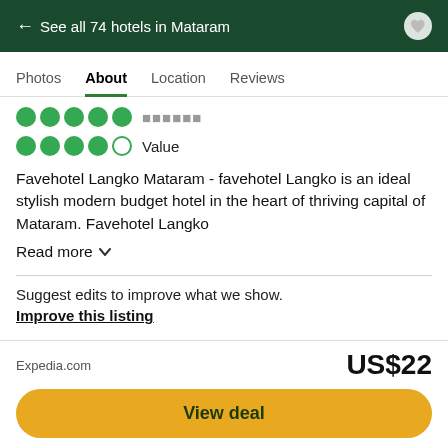← See all 74 hotels in Mataram
Photos  About  Location  Reviews
[Figure (other): Rating dots row partially clipped - service rating]
Value (4 out of 5 dots)
Favehotel Langko Mataram - favehotel Langko is an ideal stylish modern budget hotel in the heart of thriving capital of Mataram. Favehotel Langko
Read more
Suggest edits to improve what we show.
Improve this listing
Property amenities
Expedia.com
US$22
View deal